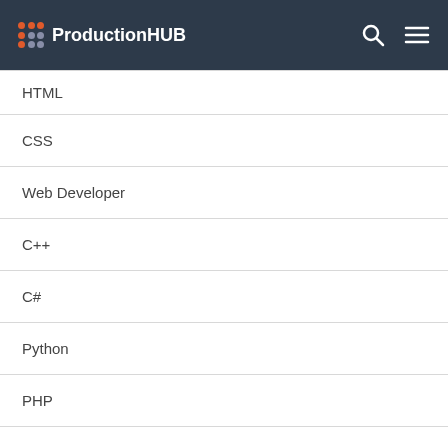ProductionHUB
HTML
CSS
Web Developer
C++
C#
Python
PHP
XHTML
Web Services
XML
Struts
Programmers
Web Developers